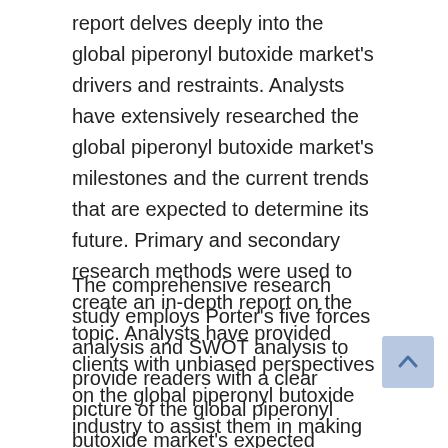report delves deeply into the global piperonyl butoxide market's drivers and restraints. Analysts have extensively researched the global piperonyl butoxide market's milestones and the current trends that are expected to determine its future. Primary and secondary research methods were used to create an in-depth report on the topic. Analysts have provided clients with unbiased perspectives on the global piperonyl butoxide industry to assist them in making well-informed business decisions.
The comprehensive research study employs Porter's five forces analysis and SWOT analysis to provide readers with a clear picture of the global piperonyl butoxide market's expected direction. The SWOT analysis focuses on defining the global piperonyl butoxide market's strengths, weaknesses, opportunities, and threats, whereas Porter's five forces analysis emphasizes competitive competition. The research report goes into